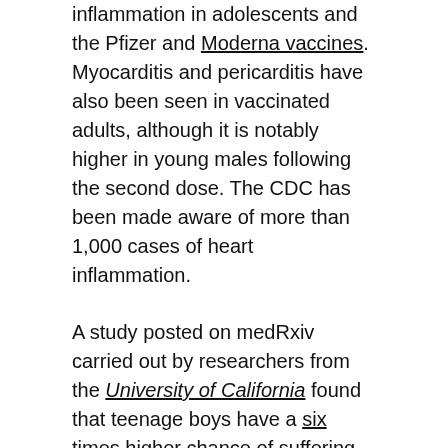inflammation in adolescents and the Pfizer and Moderna vaccines. Myocarditis and pericarditis have also been seen in vaccinated adults, although it is notably higher in young males following the second dose. The CDC has been made aware of more than 1,000 cases of heart inflammation.
A study posted on medRxiv carried out by researchers from the University of California found that teenage boys have a six times higher chance of suffering from heart problems caused by COVID-19 vaccines than being hospitalized due to COVID-19. This conclusion was reached after comparing the rates of heart inflammation among people aged 12 to 17 with COVID-19 hospitalization rates in the same age group.
Sweden and Denmark recently paused the use of the Moderna COVID-19 vaccine in younger people because of the rise in heart inflammation, but other countries are